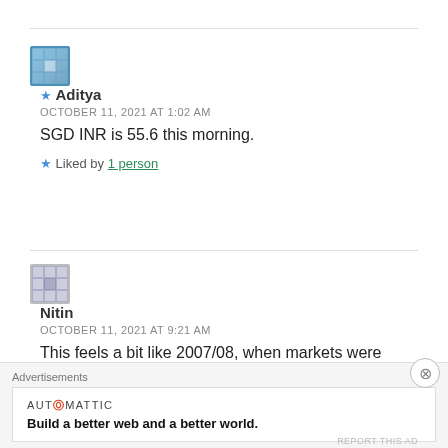★ Aditya
OCTOBER 11, 2021 AT 1:02 AM
SGD INR is 55.6 this morning.
★ Liked by 1 person
Nitin
OCTOBER 11, 2021 AT 9:21 AM
This feels a bit like 2007/08, when markets were going up like crazy and oil was also rising, finally the whole thing came crashing down.
Advertisements
AUTOMATTIC
Build a better web and a better world.